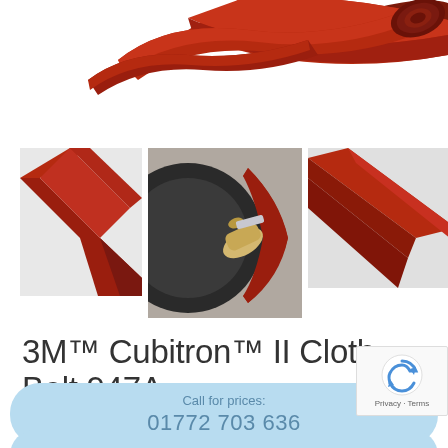[Figure (photo): Top portion showing red abrasive belt coiled/curled on white background]
[Figure (photo): Three product images: left shows red abrasive belt lying flat, center shows belt being used on a metal workpiece with gloved hand, right shows red abrasive belt close-up]
3M™ Cubitron™ II Cloth Belt 947A
Categories: Abrasives, Abrasive Belts Standard lead time may apply
Call for prices:
01772 703 636
Contact for prices: